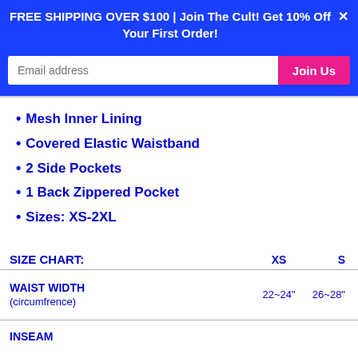FREE SHIPPING OVER $100 | Join The Cult! Get 10% Off Your First Order!
Mesh Inner Lining
Covered Elastic Waistband
2 Side Pockets
1 Back Zippered Pocket
Sizes: XS-2XL
| SIZE CHART: | XS | S |
| --- | --- | --- |
| WAIST WIDTH (circumfrence) | 22~24" | 26~28" |
| INSEAM |  |  |